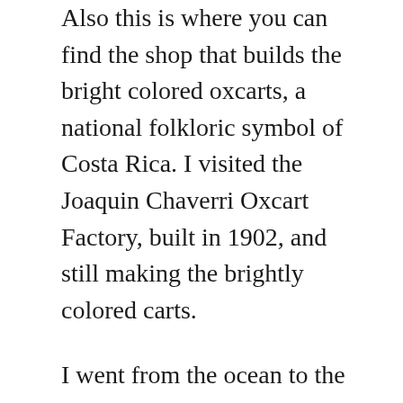Also this is where you can find the shop that builds the bright colored oxcarts, a national folkloric symbol of Costa Rica. I visited the Joaquin Chaverri Oxcart Factory, built in 1902, and still making the brightly colored carts.
I went from the ocean to the mountains to see the famous Arenal Volcano (5,328 ft.). My room at the Hotel Arenal Springs had a great view, from my bed, of the active volcano. In the morning I heard what I thought was thunder, then realized it was the volcano right before a puff of smoke